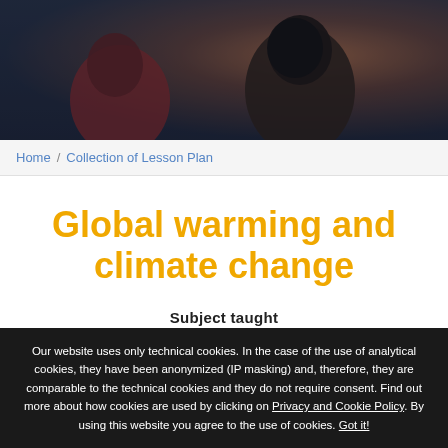[Figure (photo): Hero banner photo showing students from behind, dark-toned background with warm highlights]
Home / Collection of Lesson Plan
Global warming and climate change
Subject taught
- Chemistry
Our website uses only technical cookies. In the case of the use of analytical cookies, they have been anonymized (IP masking) and, therefore, they are comparable to the technical cookies and they do not require consent. Find out more about how cookies are used by clicking on Privacy and Cookie Policy. By using this website you agree to the use of cookies. Got it!